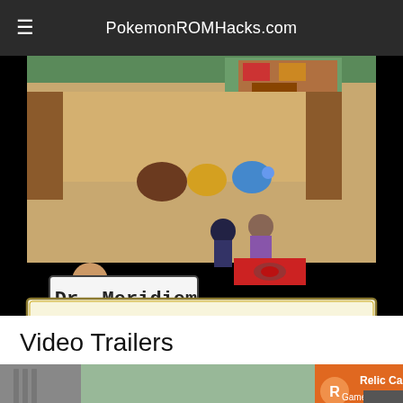PokemonROMHacks.com
[Figure (screenshot): Pokemon game screenshot showing a lab interior with characters including Dr. Meridiem. Dialog box reads: 'Are you ready for our "fight"? Just tell me whose Hidden Power can beat Dratini!']
Video Trailers
[Figure (screenshot): Partial screenshot of a Pokemon game with green circular animation, with 'Relic Castle Game Jam #6' watermark in bottom right corner. A scroll-to-top button is visible.]